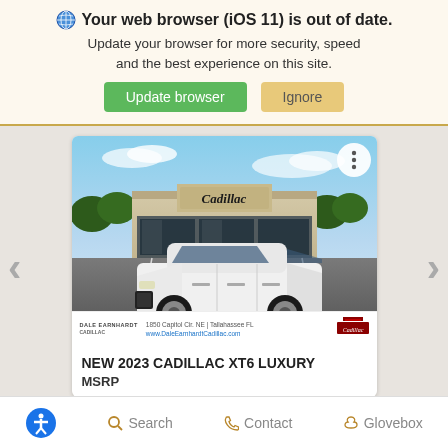Your web browser (iOS 11) is out of date. Update your browser for more security, speed and the best experience on this site.
Update browser  Ignore
[Figure (screenshot): Photo of a white 2023 Cadillac XT6 Luxury SUV parked in front of a Cadillac dealership building under a partly cloudy blue sky. A three-dot menu button appears in the top-right corner of the image.]
1850 Capitol Cir. NE | Tallahassee FL
www.DaleEarnhardtCadillac.com
NEW 2023 CADILLAC XT6 LUXURY
MSRP
Search  Contact  Glovebox